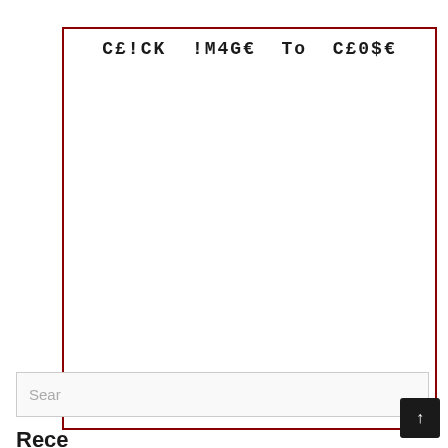[Figure (screenshot): A UI overlay/modal box with a dark red border containing the text 'CE!CK !M4GE To CE0$E' at the top in monospace font, with mostly blank white space. Below the box is a search bar with placeholder text 'Sear' and a 'Rece' label, and a dark scroll-to-top button in the bottom right corner.]
CE!CK !M4GE To C£0$€
Sear
Rece